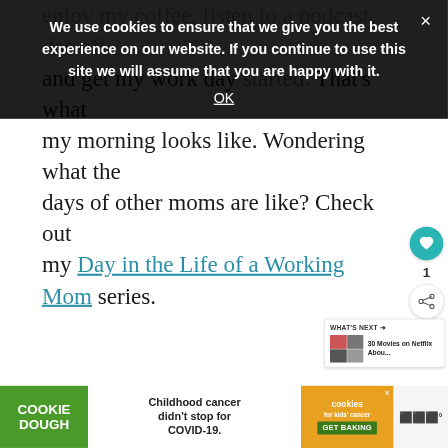We use cookies to ensure that we give you the best experience on our website. If you continue to use this site we will assume that you are happy with it. OK ×
enjoy my coffee, listen to a podcast, dos off and get my work day started. That's what my morning looks like. Wondering what the days of other moms are like? Check out my Day in the Life of a Working Mom series.
[Figure (other): Sidebar heart/favorite button showing count of 1, and a share button below it]
[Figure (other): What's Next widget showing a 2x2 thumbnail grid and text '30 Movies on Netflix Abou...']
[Figure (other): Bottom advertisement banner: Cookie Dough brand ad. Left green section says COOKIE DOUGH, middle white section says Childhood cancer didn't stop for COVID-19., right orange section shows cookies for kids cancer logo and GET BAKING CTA. Far right shows additional branding.]